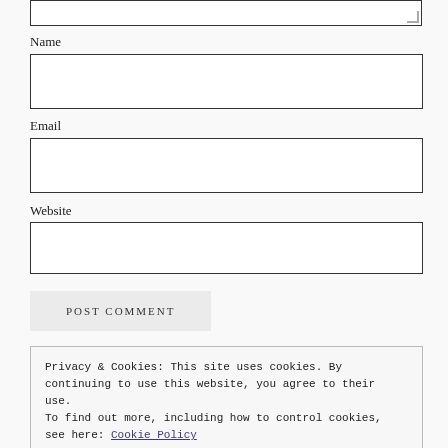Name
Email
Website
POST COMMENT
Privacy & Cookies: This site uses cookies. By continuing to use this website, you agree to their use. To find out more, including how to control cookies, see here: Cookie Policy
Close and accept